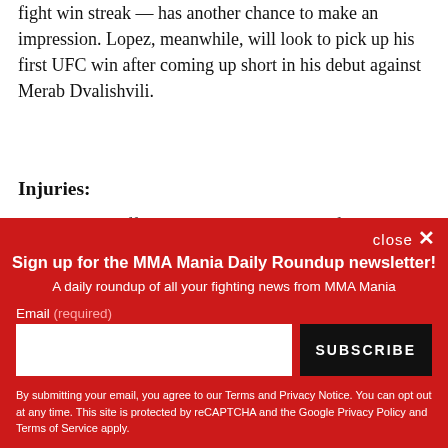fight win streak — has another chance to make an impression. Lopez, meanwhile, will look to pick up his first UFC win after coming up short in his debut against Merab Dvalishvili.
Injuries:
Philipe Lins suffered a knee injury and was forced out
close ✕
Sign up for the MMA Mania Daily Roundup newsletter!
A daily roundup of all your fighting news from MMA Mania
Email (required)
SUBSCRIBE
By submitting your email, you agree to our Terms and Privacy Notice. You can opt out at any time. This site is protected by reCAPTCHA and the Google Privacy Policy and Terms of Service apply.